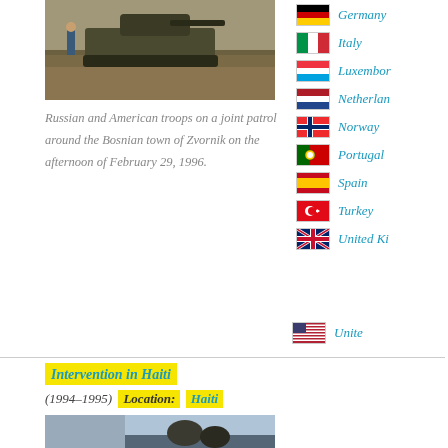[Figure (photo): Military tank on dirt ground with a person standing nearby, olive/brown tones]
Russian and American troops on a joint patrol around the Bosnian town of Zvornik on the afternoon of February 29, 1996.
[Figure (illustration): Flags of NATO/coalition countries: Germany, Italy, Luxembourg, Netherlands, Norway, Portugal, Spain, Turkey, United Kingdom]
Intervention in Haiti (1994–1995) Location: Haiti
[Figure (photo): Soldiers in Haiti, partially visible at the bottom of the page]